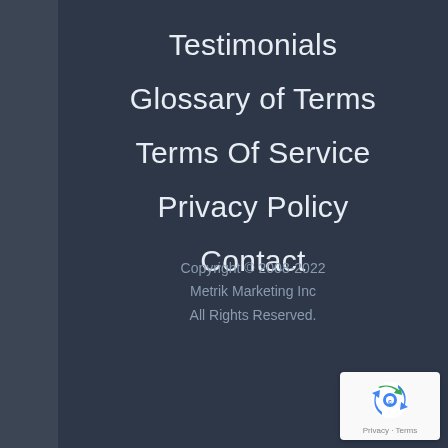Testimonials
Glossary of Terms
Terms Of Service
Privacy Policy
Contact
Copyright © 2008-2022
Metrik Marketing Inc
All Rights Reserved.
[Figure (logo): Google reCAPTCHA badge with recycling-arrow logo icon and 'Privacy - Terms' text]